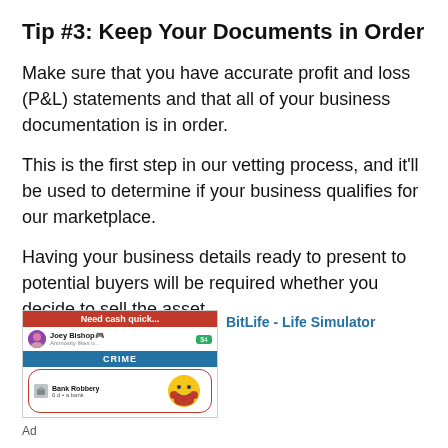Tip #3: Keep Your Documents in Order
Make sure that you have accurate profit and loss (P&L) statements and that all of your business documentation is in order.
This is the first step in our vetting process, and it'll be used to determine if your business qualifies for our marketplace.
Having your business details ready to present to potential buyers will be required whether you decide to sell the asset
[Figure (screenshot): Mobile game advertisement for BitLife - Life Simulator showing a bank robbery game screen with a red banner reading 'Need cash quick...' and game UI elements.]
Ad